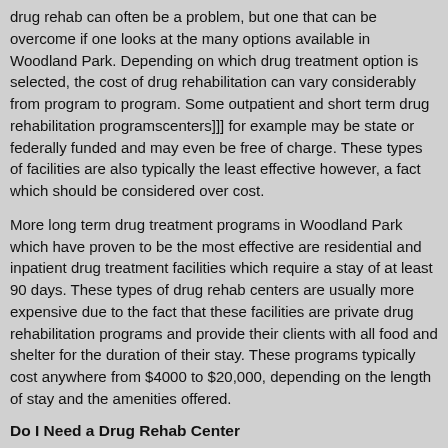drug rehab can often be a problem, but one that can be overcome if one looks at the many options available in Woodland Park. Depending on which drug treatment option is selected, the cost of drug rehabilitation can vary considerably from program to program. Some outpatient and short term drug rehabilitation programscenters]]] for example may be state or federally funded and may even be free of charge. These types of facilities are also typically the least effective however, a fact which should be considered over cost.
More long term drug treatment programs in Woodland Park which have proven to be the most effective are residential and inpatient drug treatment facilities which require a stay of at least 90 days. These types of drug rehab centers are usually more expensive due to the fact that these facilities are private drug rehabilitation programs and provide their clients with all food and shelter for the duration of their stay. These programs typically cost anywhere from $4000 to $20,000, depending on the length of stay and the amenities offered.
Do I Need a Drug Rehab Center
Individuals in Woodland Park can get captured in the cycle of addiction so rapidly, that before they know it their addiction has spun out of control and they can no longer handle their behavior or choices regarding their drug use. One day an individual might be using drugs "socially" and within just a short amount of time, absolutely nothing else appears to be important. This is because drugs induce both physical and psychological dependence that causes people to make drugs a lot more important than anything else in their lives.
Even though this can be tough to comprehend for most who don't have a problem with drugs, individuals that are "good" people can very easily